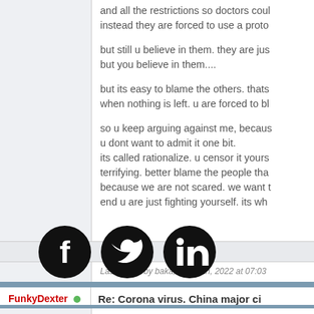and all the restrictions so doctors coul instead they are forced to use a proto

but still u believe in them. they are jus but you believe in them....

but its easy to blame the others. thats when nothing is left. u are forced to bl

so u keep arguing against me, becaus u dont want to admit it one bit.
its called rationalize. u censor it yours terrifying. better blame the people tha because we are not scared. we want t end u are just fighting yourself. its wh
Last edited by baka; Jan 26th, 2022 at 07:03
[Figure (other): Social share icons: Facebook, Twitter, LinkedIn circular black icons]
Jan 26th, 2022, 07:21 AM
FunkyDexter
Re: Corona virus. China major ci